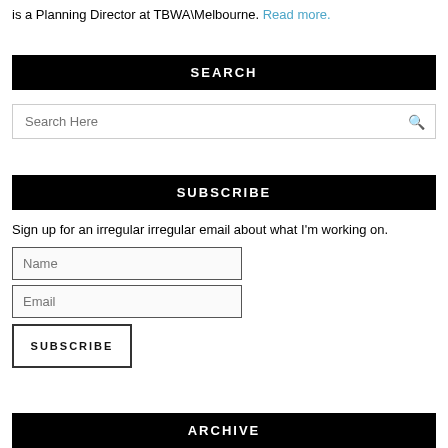is a Planning Director at TBWA\Melbourne. Read more.
SEARCH
Search Here
SUBSCRIBE
Sign up for an irregular irregular email about what I'm working on.
Name
Email
SUBSCRIBE
ARCHIVE